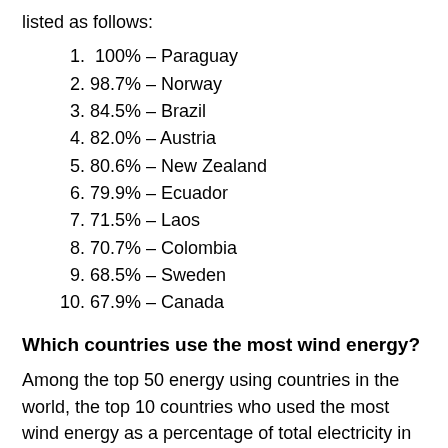listed as follows:
1.  100% – Paraguay
2. 98.7% – Norway
3. 84.5% – Brazil
4. 82.0% – Austria
5. 80.6% – New Zealand
6. 79.9% – Ecuador
7. 71.5% – Laos
8. 70.7% – Colombia
9. 68.5% – Sweden
10. 67.9% – Canada
Which countries use the most wind energy?
Among the top 50 energy using countries in the world, the top 10 countries who used the most wind energy as a percentage of total electricity in 2020 are listed as